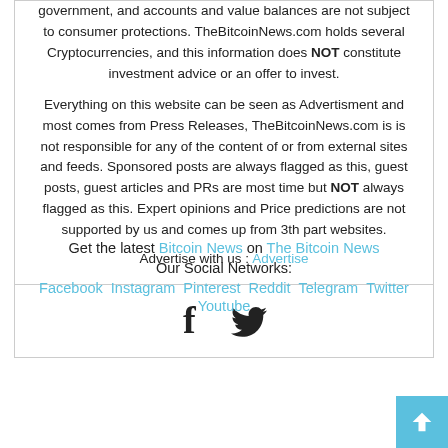government, and accounts and value balances are not subject to consumer protections. TheBitcoinNews.com holds several Cryptocurrencies, and this information does NOT constitute investment advice or an offer to invest.
Everything on this website can be seen as Advertisment and most comes from Press Releases, TheBitcoinNews.com is is not responsible for any of the content of or from external sites and feeds. Sponsored posts are always flagged as this, guest posts, guest articles and PRs are most time but NOT always flagged as this. Expert opinions and Price predictions are not supported by us and comes up from 3th part websites.
Advertise with us : Advertise
[Figure (illustration): Facebook and Twitter social share icons]
Get the latest Bitcoin News on The Bitcoin News
Our Social Networks:
Facebook Instagram Pinterest Reddit Telegram Twitter Youtube